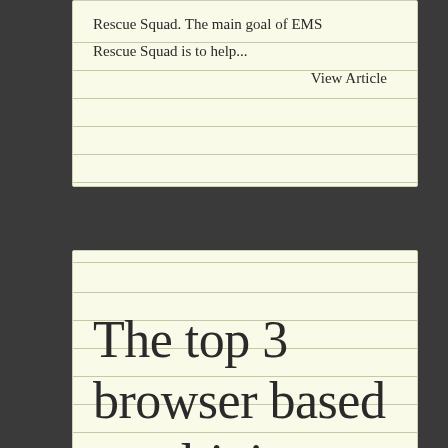Rescue Squad. The main goal of EMS Rescue Squad is to help...
View Article
The top 3 browser based car driving games you should play